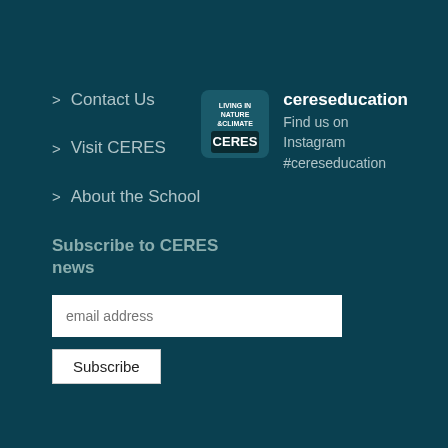> Contact Us
> Visit CERES
> About the School
Subscribe to CERES news
[Figure (logo): CERES logo with text 'NATURE CLIMATE CERES']
cereseducation
Find us on Instagram
#cereseducation